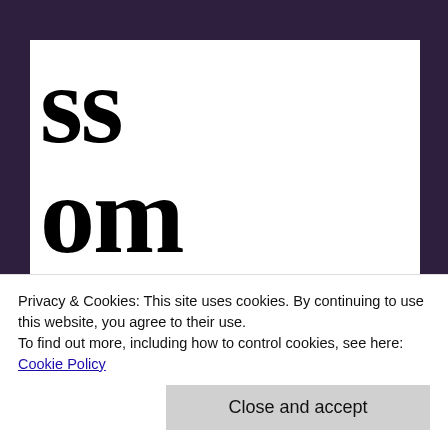ss
om
≡ Menu
Toyota Beats GM In
Privacy & Cookies: This site uses cookies. By continuing to use this website, you agree to their use.
To find out more, including how to control cookies, see here: Cookie Policy
Close and accept